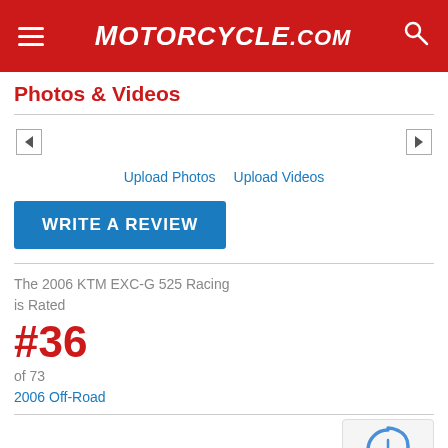MOTORCYCLE.COM
Photos & Videos
Upload Photos  Upload Videos
WRITE A REVIEW
The 2006 KTM EXC-G 525 Racing is Rated
#36
of 73
2006 Off-Road